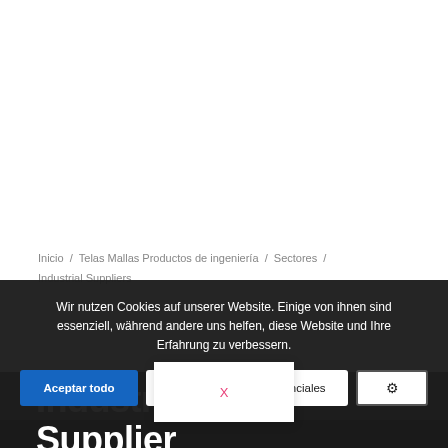Inicio / Telas Mallas Productos de ingeniería / Sectores / Industrial Suppliers
Wir nutzen Cookies auf unserer Website. Einige von ihnen sind essenziell, während andere uns helfen, diese Website und Ihre Erfahrung zu verbessern.
Aceptar todo
Aceptar las cookies esenciales
[Figure (other): Settings gear icon button]
Industri Supplier